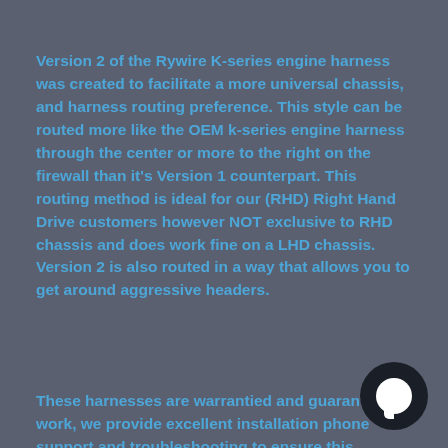Version 2 of the Rywire K-series engine harness was created to facilitate a more universal chassis, and harness routing preference. This style can be routed more like the OEM k-series engine harness through the center or more to the right on the firewall than it's Version 1 counterpart. This routing method is ideal for our (RHD) Right Hand Drive customers however NOT exclusive to RHD chassis and does work fine on a LHD chassis. Version 2 is also routed in a way that allows you to get around aggressive headers.
These harnesses are warrantied and guaranteed to work, we provide excellent installation phone support and troubleshooting to ensure this reputation for quality, however they are non-refundable. Our K-series Version 2 (K2) wire-tuck engine harness is nearly identical to its K2 Mil-spec counterpart with the